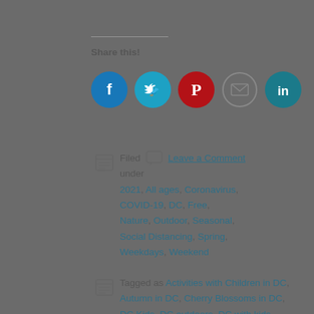Share this!
[Figure (infographic): Social sharing icons: Facebook (blue circle), Twitter (teal circle), Pinterest (red circle), Email (grey outline circle), LinkedIn (teal circle)]
Filed  Leave a Comment under 2021, All ages, Coronavirus, COVID-19, DC, Free, Nature, Outdoor, Seasonal, Social Distancing, Spring, Weekdays, Weekend
Tagged as Activities with Children in DC, Autumn in DC, Cherry Blossoms in DC, DC Kids, DC outdoors, DC with kids, Family Fun, Fun Things to do with Kids in the